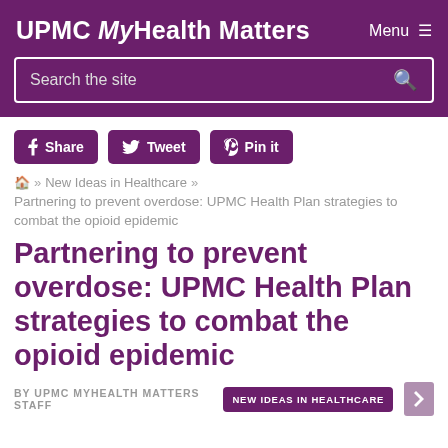UPMC MyHealth Matters   Menu ≡
Search the site
Share   Tweet   Pin it
🏠 Home » New Ideas in Healthcare »
Partnering to prevent overdose: UPMC Health Plan strategies to combat the opioid epidemic
Partnering to prevent overdose: UPMC Health Plan strategies to combat the opioid epidemic
BY UPMC MYHEALTH MATTERS STAFF   NEW IDEAS IN HEALTHCARE